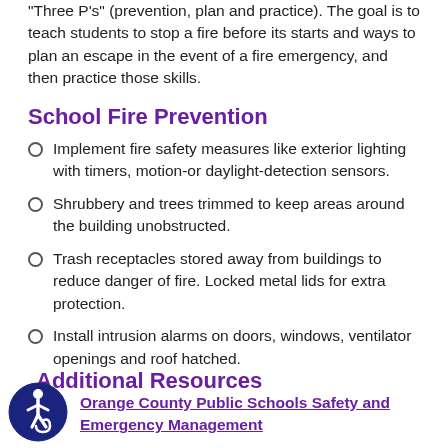“Three P’s” (prevention, plan and practice). The goal is to teach students to stop a fire before its starts and ways to plan an escape in the event of a fire emergency, and then practice those skills.
School Fire Prevention
Implement fire safety measures like exterior lighting with timers, motion-or daylight-detection sensors.
Shrubbery and trees trimmed to keep areas around the building unobstructed.
Trash receptacles stored away from buildings to reduce danger of fire. Locked metal lids for extra protection.
Install intrusion alarms on doors, windows, ventilator openings and roof hatched.
Additional Resources
Orange County Public Schools Safety and Emergency Management
[Figure (logo): Accessibility icon: circular blue badge with a white wheelchair user figure]